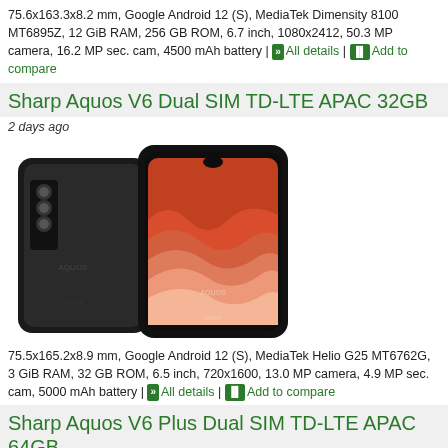75.6x163.3x8.2 mm, Google Android 12 (S), MediaTek Dimensity 8100 MT6895Z, 12 GiB RAM, 256 GB ROM, 6.7 inch, 1080x2412, 50.3 MP camera, 16.2 MP sec. cam, 4500 mAh battery | All details | Add to compare
Sharp Aquos V6 Dual SIM TD-LTE APAC 32GB
2 days ago
[Figure (photo): Sharp Aquos V6 smartphone shown from front and back, black color, with colorful wavy pattern on screen]
75.5x165.2x8.9 mm, Google Android 12 (S), MediaTek Helio G25 MT6762G, 3 GiB RAM, 32 GB ROM, 6.5 inch, 720x1600, 13.0 MP camera, 4.9 MP sec. cam, 5000 mAh battery | All details | Add to compare
Sharp Aquos V6 Plus Dual SIM TD-LTE APAC 64GB
3 days ago
[Figure (photo): Sharp Aquos V6 Plus smartphones shown partially at bottom of page, two color variants visible]